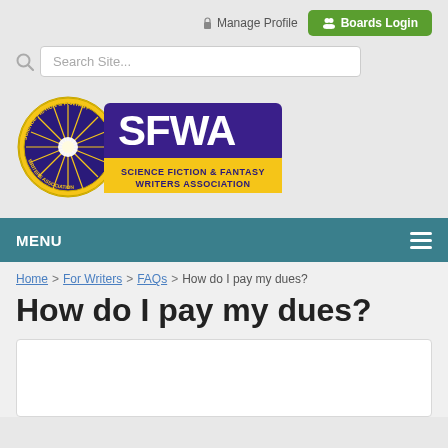Manage Profile  Boards Login
Search Site...
[Figure (logo): SFWA - Science Fiction & Fantasy Writers Association logo with circular emblem and purple banner]
MENU
Home > For Writers > FAQs > How do I pay my dues?
How do I pay my dues?